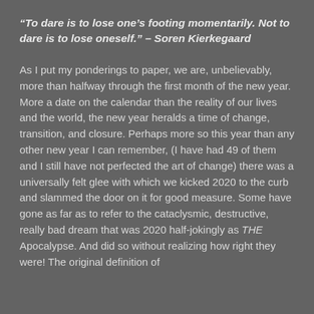“To dare is to lose one’s footing momentarily. Not to dare is to lose oneself.” – Soren Kierkegaard
As I put my ponderings to paper, we are, unbelievably, more than halfway through the first month of the new year. More a date on the calendar than the reality of our lives and the world, the new year heralds a time of change, transition, and closure. Perhaps more so this year than any other new year I can remember, (I have had 49 of them and I still have not perfected the art of change) there was a universally felt glee with which we kicked 2020 to the curb and slammed the door on it for good measure. Some have gone as far as to refer to the cataclysmic, destructive, really bad dream that was 2020 half-jokingly as THE Apocalypse. And did so without realizing how right they were! The original definition of